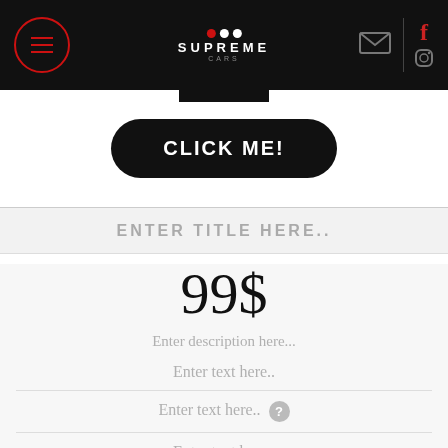[Figure (screenshot): Supreme Cars website navigation bar with hamburger menu, logo, mail icon, Facebook and Instagram social icons on black background]
[Figure (screenshot): White section with a black rounded 'CLICK ME!' button centered on the page]
ENTER TITLE HERE..
99$
Enter description here...
Enter text here..
Enter text here..
Enter text here..